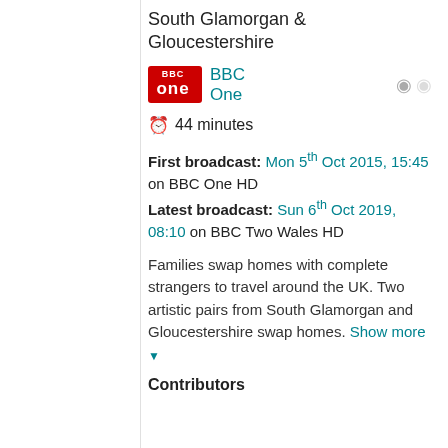South Glamorgan & Gloucestershire
[Figure (logo): BBC One red logo block]
BBC One
44 minutes
First broadcast: Mon 5th Oct 2015, 15:45 on BBC One HD
Latest broadcast: Sun 6th Oct 2019, 08:10 on BBC Two Wales HD
Families swap homes with complete strangers to travel around the UK. Two artistic pairs from South Glamorgan and Gloucestershire swap homes. Show more
Contributors